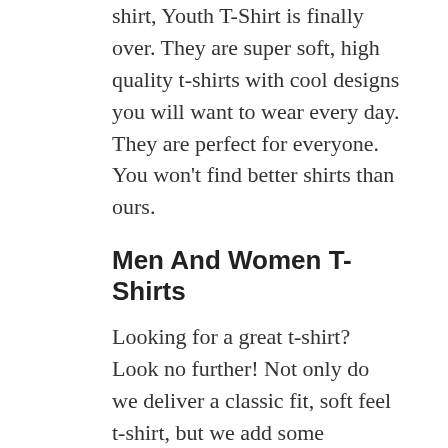shirt, Youth T-Shirt is finally over. They are super soft, high quality t-shirts with cool designs you will want to wear every day. They are perfect for everyone. You won't find better shirts than ours.
Men And Women T-Shirts
Looking for a great t-shirt? Look no further! Not only do we deliver a classic fit, soft feel t-shirt, but we add some incredible designs and details that make our t-shirts stand out from others.
Men and women t-shirts with funny words to buy online at bendytee store. Funny shirts and cool t-shirts for men and women.